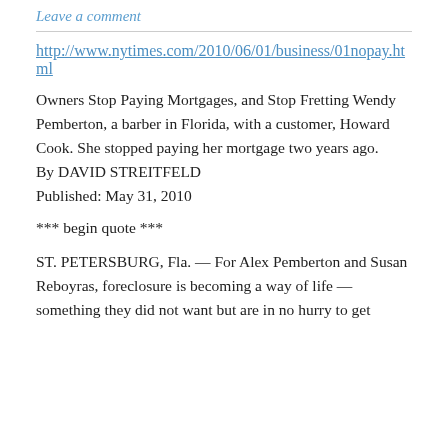Leave a comment
http://www.nytimes.com/2010/06/01/business/01nopay.html
Owners Stop Paying Mortgages, and Stop Fretting Wendy Pemberton, a barber in Florida, with a customer, Howard Cook. She stopped paying her mortgage two years ago.
By DAVID STREITFELD
Published: May 31, 2010
*** begin quote ***
ST. PETERSBURG, Fla. — For Alex Pemberton and Susan Reboyras, foreclosure is becoming a way of life — something they did not want but are in no hurry to get